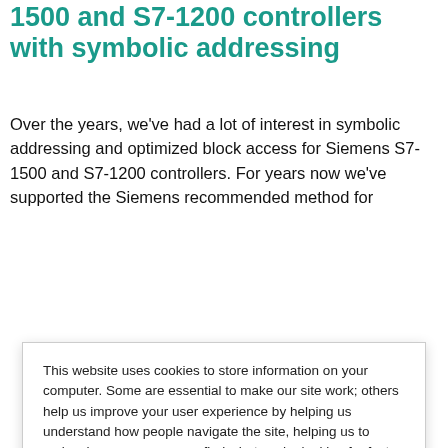1500 and S7-1200 controllers with symbolic addressing
Over the years, we've had a lot of interest in symbolic addressing and optimized block access for Siemens S7-1500 and S7-1200 controllers. For years now we've supported the Siemens recommended method for
This website uses cookies to store information on your computer. Some are essential to make our site work; others help us improve your user experience by helping us understand how people navigate the site, helping us to make changes so you can find what you're looking for faster. By continuing to browse this site, we assume your consent to our usage. To find out more visit our Privacy Policy.

If you decline, your information will not be tracked when you visit this website. A single cookie will be used in your browser to remember your preference not to be tracked.